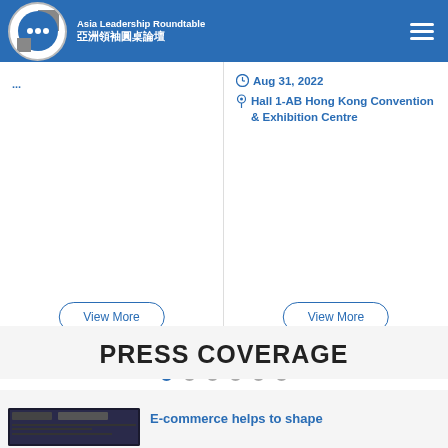[Figure (logo): Asia Leadership Roundtable logo with circular icon and text in English and Chinese]
Aug 31, 2022
Hall 1-AB Hong Kong Convention & Exhibition Centre
View More
View More
[Figure (infographic): Carousel pagination dots, 6 dots with first dot active/blue]
PRESS COVERAGE
[Figure (screenshot): Small thumbnail screenshot of e-commerce related content]
E-commerce helps to shape